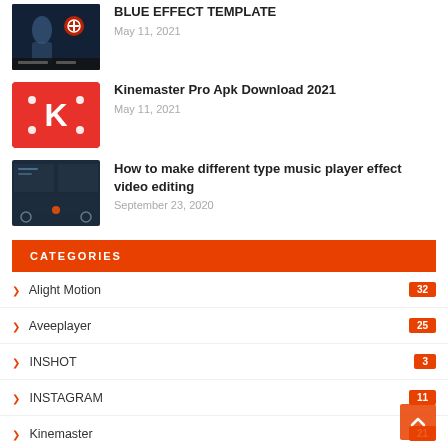[Figure (screenshot): Dark blue/gaming effect thumbnail image]
BLUE EFFECT TEMPLATE
May 11, 2021
[Figure (logo): Kinemaster red logo with K letter]
Kinemaster Pro Apk Download 2021
May 11, 2021
[Figure (screenshot): Music player dark themed video editing screenshot]
How to make different type music player effect video editing
September 23, 2020
CATEGORIES
Alight Motion 32
Aveeplayer 25
INSHOT 3
INSTAGRAM 11
Kinemaster 21